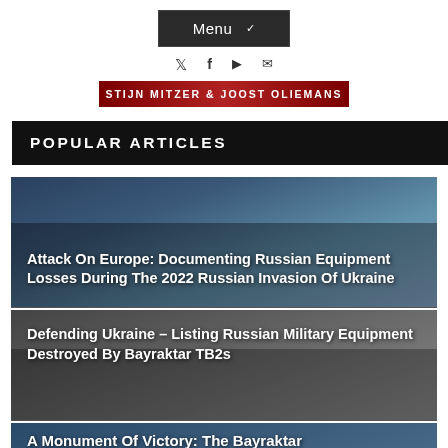Menu
STIJN MITZER & JOOST OLIEMANS
POPULAR ARTICLES
Attack On Europe: Documenting Russian Equipment Losses During The 2022 Russian Invasion Of Ukraine
Defending Ukraine – Listing Russian Military Equipment Destroyed By Bayraktar TB2s
A Monument Of Victory: The Bayraktar